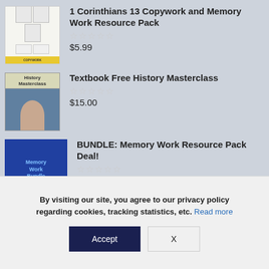[Figure (illustration): Thumbnail image for 1 Corinthians 13 Copywork and Memory Work Resource Pack - shows document pages with a yellow bar at bottom]
1 Corinthians 13 Copywork and Memory Work Resource Pack
☆☆☆☆☆  $5.99
[Figure (illustration): Thumbnail image for Textbook Free History Masterclass - shows green header with 'History Masterclass' text and a woman below]
Textbook Free History Masterclass
☆☆☆☆☆  $15.00
[Figure (illustration): Thumbnail image for BUNDLE: Memory Work Resource Pack Deal! - dark blue background with 'Memory Work Bundle' text]
BUNDLE: Memory Work Resource Pack Deal!
☆☆☆☆☆
By visiting our site, you agree to our privacy policy regarding cookies, tracking statistics, etc. Read more